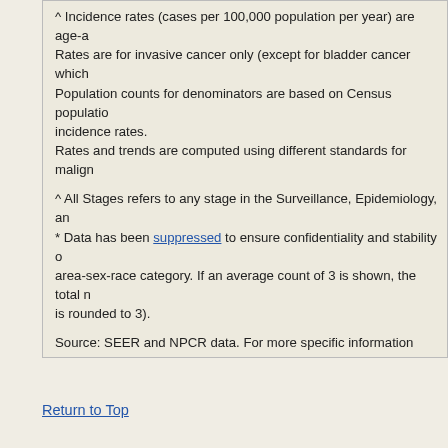^ Incidence rates (cases per 100,000 population per year) are age-adjusted to the 2000 US standard population (19 age groups: <1, 1-4, 5-9, ... 85+). Rates are for invasive cancer only (except for bladder cancer which includes invasive and in situ). Population counts for denominators are based on Census populations as modified by NCI. Rates and trends are computed using different standards for malignant brain tumors. Rates are for invasive cancer only (except for bladder cancer which). Population counts for denominators are based on Census population. incidence rates. Rates and trends are computed using different standards for malign
^ All Stages refers to any stage in the Surveillance, Epidemiology, and End Results (SEER) database.
* Data has been suppressed to ensure confidentiality and stability of rate estimates. Counts are suppressed if fewer than 16 records were reported in a specific area-sex-race category. If an average count of 3 is shown, the total number of cases for the time period is 16 or more which results in an average annual count that is rounded to 3).
Source: SEER and NPCR data. For more specific information please see the data sources section of the online help.
Interpret Rankings provides insight into interpreting cancer incidence statistics. When the population size for a denominator is small, rates may be unstable. A rate is unstable when a small change in the numerator (e.g., when the count is small) causes a large change in the rate.
Data for United States does not include Puerto Rico.
When displaying county information, the CI*Rank for the state is not shown because it is based on a larger number of counties than are shown for the US By State level.
Return to Top